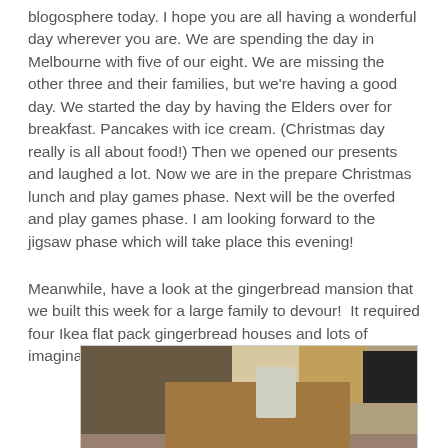blogosphere today. I hope you are all having a wonderful day wherever you are. We are spending the day in Melbourne with five of our eight. We are missing the other three and their families, but we're having a good day. We started the day by having the Elders over for breakfast. Pancakes with ice cream. (Christmas day really is all about food!) Then we opened our presents and laughed a lot. Now we are in the prepare Christmas lunch and play games phase. Next will be the overfed and play games phase. I am looking forward to the jigsaw phase which will take place this evening!
Meanwhile, have a look at the gingerbread mansion that we built this week for a large family to devour!  It required four Ikea flat pack gingerbread houses and lots of imagination.
[Figure (photo): A photo of a gingerbread mansion made from four Ikea flat pack gingerbread houses, placed on a table in a cluttered room with shelves, a bulletin board, and a TV visible in the background. A person or figure is visible behind the gingerbread construction.]